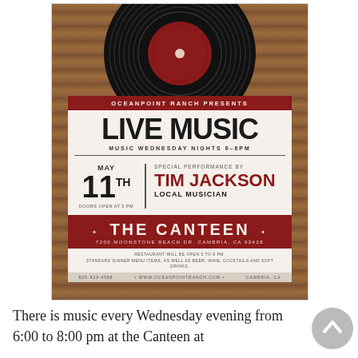[Figure (infographic): Event flyer for Oceanpoint Ranch Live Music night featuring Tim Jackson at The Canteen, May 11th, with a vinyl record graphic on a wood background]
There is music every Wednesday evening from 6:00 to 8:00 pm at the Canteen at